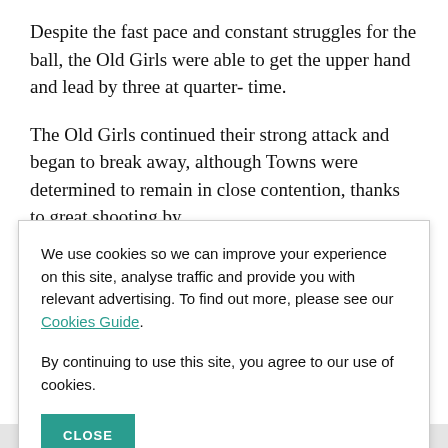Despite the fast pace and constant struggles for the ball, the Old Girls were able to get the upper hand and lead by three at quarter- time.
The Old Girls continued their strong attack and began to break away, although Towns were determined to remain in close contention, thanks to great shooting by
We use cookies so we can improve your experience on this site, analyse traffic and provide you with relevant advertising. To find out more, please see our Cookies Guide.

By continuing to use this site, you agree to our use of cookies.
Spectators were left on the edges of their seats at half